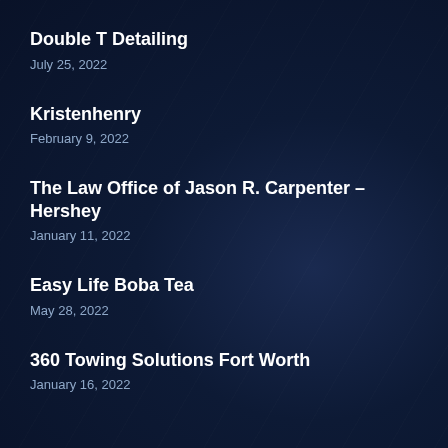Double T Detailing
July 25, 2022
Kristenhenry
February 9, 2022
The Law Office of Jason R. Carpenter – Hershey
January 11, 2022
Easy Life Boba Tea
May 28, 2022
360 Towing Solutions Fort Worth
January 16, 2022